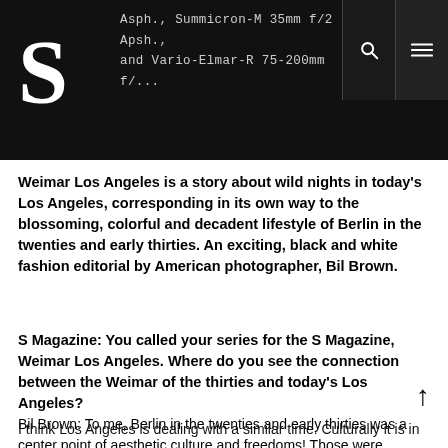Asph., Summicron-M 35mm f/2 Apsh., and Vario-Elmar-R 75-200mm f/...
Weimar Los Angeles is a story about wild nights in today's Los Angeles, corresponding in its own way to the blossoming, colorful and decadent lifestyle of Berlin in the twenties and early thirties. An exciting, black and white fashion editorial by American photographer, Bil Brown.
S Magazine: You called your series for the S Magazine, Weimar Los Angeles. Where do you see the connection between the Weimar of the thirties and today's Los Angeles?
Bil Brown: To me, Berlin in the twenties and early thirties was a center point of aesthetic culture and freedoms! Those were assaulted by the realities of global politics: economic uncertainty for some people, while others became rich. The advances of liberalism happened on one end, on the other the rise of a darker neo-conservatism that manipulated the masses with fear of the other.
I think Los Angeles is dealing with a similar time. Culturally it is in...